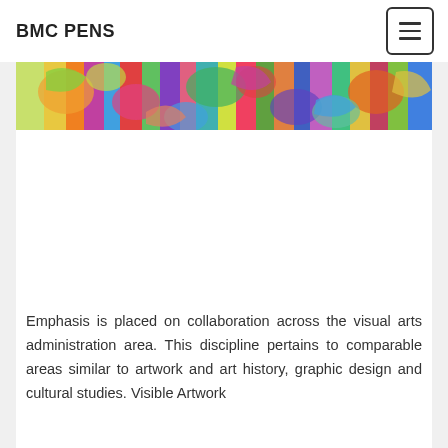BMC PENS
[Figure (illustration): A colorful, vibrant banner image with abstract floral and artistic motifs in bright colors including red, blue, green, yellow, and purple.]
Emphasis is placed on collaboration across the visual arts administration area. This discipline pertains to comparable areas similar to artwork and art history, graphic design and cultural studies. Visible Artwork